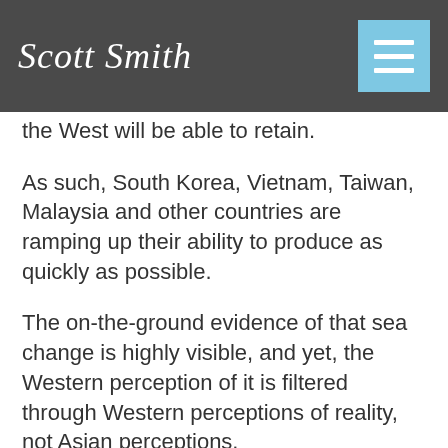Scott Smith
the West will be able to retain.
As such, South Korea, Vietnam, Taiwan, Malaysia and other countries are ramping up their ability to produce as quickly as possible.
The on-the-ground evidence of that sea change is highly visible, and yet, the Western perception of it is filtered through Western perceptions of reality, not Asian perceptions.
Unfortunately, when people in the West are seeking to understand anything Asian, they tend to make the mistake of talking amongst